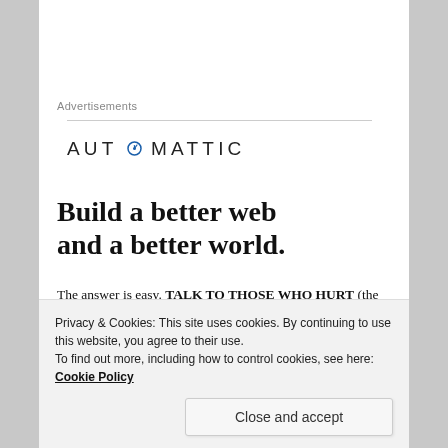Advertisements
[Figure (logo): Automattic logo with a compass/clock icon replacing the 'O']
Build a better web and a better world.
The answer is easy. TALK TO THOSE WHO HURT (the Trust has contact details) and remember, THE CUSTOMERS IS ALWAYS RIGHT.
Privacy & Cookies: This site uses cookies. By continuing to use this website, you agree to their use. To find out more, including how to control cookies, see here: Cookie Policy
Close and accept
with the breaved family group (set up by Alan Yates as